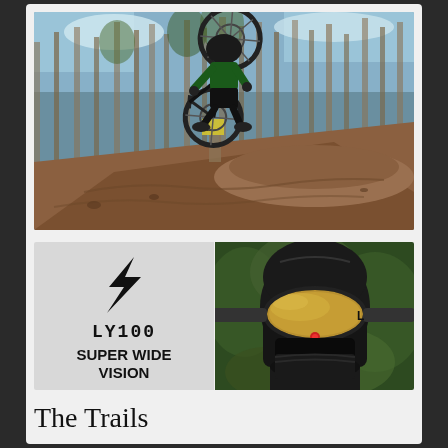[Figure (photo): Mountain biker performing a jump trick (rear wheel lifted high) on a dirt trail in a eucalyptus forest, shot with a fisheye/wide-angle lens from below. Red-brown dirt trail and tall thin trees fill the background with blue sky visible at top.]
[Figure (logo): LY100 product logo panel: large stylized lightning bolt icon in black on a light grey background, with 'LY100' text below in monospace bold, and 'SUPER WIDE VISION' in large bold black sans-serif text beneath that.]
[Figure (photo): Close-up portrait photo of a mountain biker wearing a full-face black helmet with gold-tinted goggles/visor, with green foliage background.]
The Trails